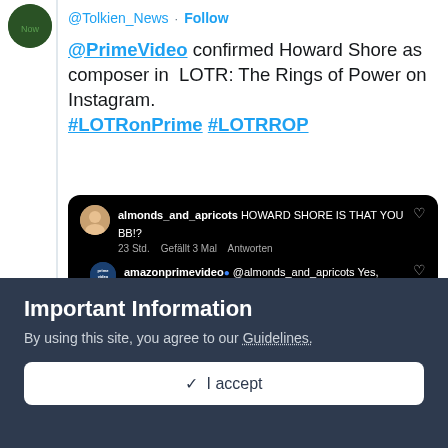@Tolkien_News · Follow
@PrimeVideo confirmed Howard Shore as composer in LOTR: The Rings of Power on Instagram. #LOTRonPrime #LOTRROP
[Figure (screenshot): Instagram comments screenshot on black background. User almonds_and_apricots: 'HOWARD SHORE IS THAT YOU BB!?' — 23 Std. Gefällt 3 Mal Antworten. Reply from amazonprimevideo @almonds_and_apricots: Yes, that's Academy Award winning composer Howard Shore, nbd 🎸 — 21 Std. Gefällt 8 Mal Antworten]
2:16 PM · Jan 20, 2022
Important Information
By using this site, you agree to our Guidelines.
✓ I accept